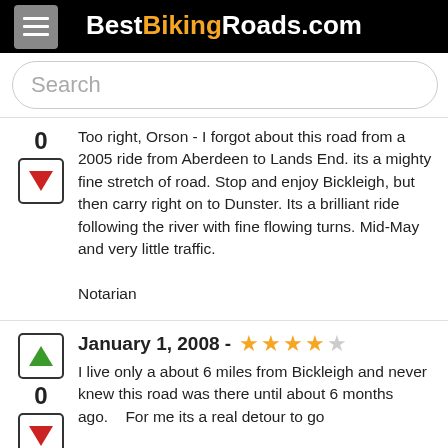BestBikingRoads.com
Search
Too right, Orson - I forgot about this road from a 2005 ride from Aberdeen to Lands End. its a mighty fine stretch of road. Stop and enjoy Bickleigh, but then carry right on to Dunster. Its a brilliant ride following the river with fine flowing turns. Mid-May and very little traffic.

Notarian
January 1, 2008 - ★★★★☆
I live only a about 6 miles from Bickleigh and never knew this road was there until about 6 months ago.    For me its a real detour to go